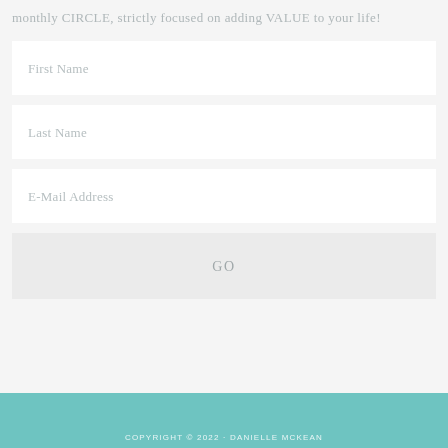monthly CIRCLE, strictly focused on adding VALUE to your life!
First Name
Last Name
E-Mail Address
GO
COPYRIGHT © 2022 · DANIELLE MCKEAN